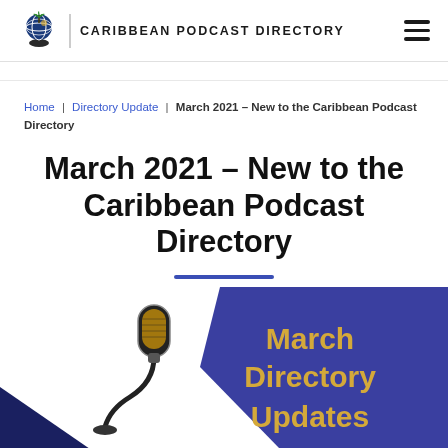CARIBBEAN PODCAST DIRECTORY
Home | Directory Update | March 2021 – New to the Caribbean Podcast Directory
March 2021 – New to the Caribbean Podcast Directory
[Figure (illustration): Promotional graphic with a microphone on the left and a blue pentagon shape on the right containing the text 'March Directory Updates' in gold/yellow font on a dark blue background.]